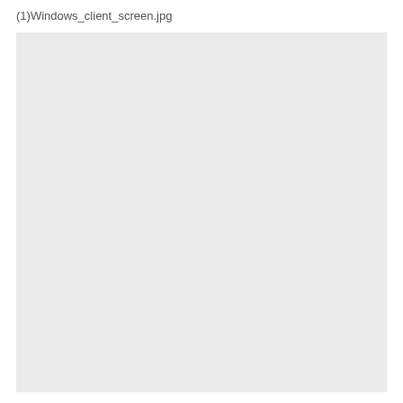(1)Windows_client_screen.jpg
[Figure (screenshot): A blank/empty light gray rectangular placeholder image representing a Windows client screen screenshot.]